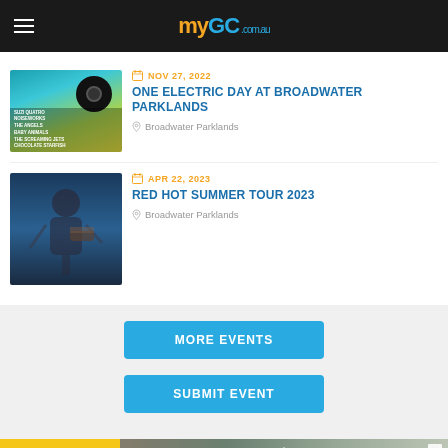myGC.com.au
[Figure (screenshot): Event listing thumbnail for One Electric Day - shows artist names on colorful background with vinyl record icon]
NOV 27, 2022
ONE ELECTRIC DAY AT BROADWATER PARKLANDS
Broadwater Parklands
[Figure (photo): Concert photo of guitarist performing on dark blue lit stage]
APR 22, 2023
RED HOT SUMMER TOUR 2023
Broadwater Parklands
MORE EVENTS
SUBMIT EVENT
[Figure (photo): Advertisement banner for The Layt Clinic - Plastic & Cosmetic Surgery, showing SHOP ONLINE text on yellow background and clinic logo]